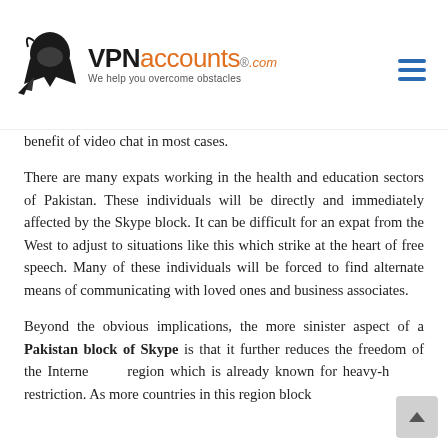VPNaccounts.com — We help you overcome obstacles
benefit of video chat in most cases.
There are many expats working in the health and education sectors of Pakistan. These individuals will be directly and immediately affected by the Skype block. It can be difficult for an expat from the West to adjust to situations like this which strike at the heart of free speech. Many of these individuals will be forced to find alternate means of communicating with loved ones and business associates.
Beyond the obvious implications, the more sinister aspect of a Pakistan block of Skype is that it further reduces the freedom of the Interne region which is already known for heavy-h restriction. As more countries in this region block